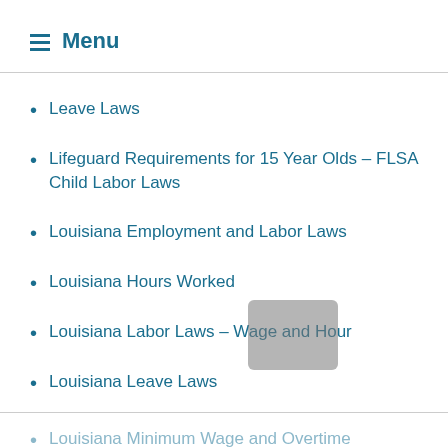Menu
Leave Laws
Lifeguard Requirements for 15 Year Olds – FLSA Child Labor Laws
Louisiana Employment and Labor Laws
Louisiana Hours Worked
Louisiana Labor Laws – Wage and Hour
Louisiana Leave Laws
Louisiana Minimum Wage and Overtime